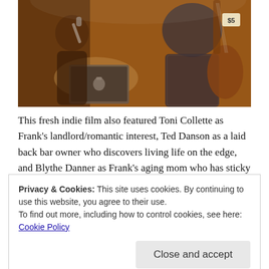[Figure (photo): Indoor performance scene: a woman singing into a microphone on the left, a man in a plaid shirt playing an electric guitar on the right, a laptop with an Apple logo visible in the foreground, warm orange/amber lighting, bar or music venue setting]
This fresh indie film also featured Toni Collette as Frank's landlord/romantic interest, Ted Danson as a laid back bar owner who discovers living life on the edge, and Blythe Danner as Frank's aging mom who has sticky fingers
Privacy & Cookies: This site uses cookies. By continuing to use this website, you agree to their use.
To find out more, including how to control cookies, see here: Cookie Policy
connection between Frank and Sam. That delicate